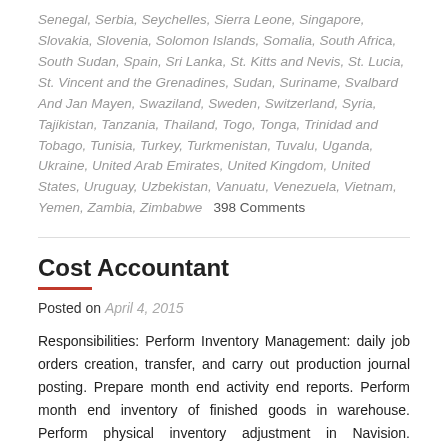Senegal, Serbia, Seychelles, Sierra Leone, Singapore, Slovakia, Slovenia, Solomon Islands, Somalia, South Africa, South Sudan, Spain, Sri Lanka, St. Kitts and Nevis, St. Lucia, St. Vincent and the Grenadines, Sudan, Suriname, Svalbard And Jan Mayen, Swaziland, Sweden, Switzerland, Syria, Tajikistan, Tanzania, Thailand, Togo, Tonga, Trinidad and Tobago, Tunisia, Turkey, Turkmenistan, Tuvalu, Uganda, Ukraine, United Arab Emirates, United Kingdom, United States, Uruguay, Uzbekistan, Vanuatu, Venezuela, Vietnam, Yemen, Zambia, Zimbabwe    398 Comments
Cost Accountant
Posted on April 4, 2015
Responsibilities: Perform Inventory Management: daily job orders creation, transfer, and carry out production journal posting. Prepare month end activity end reports. Perform month end inventory of finished goods in warehouse. Perform physical inventory adjustment in Navision. Generate and print the valuation report.